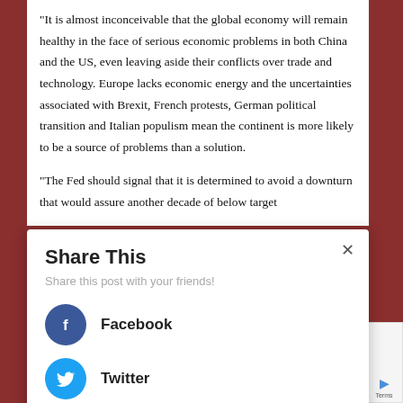“It is almost inconceivable that the global economy will remain healthy in the face of serious economic problems in both China and the US, even leaving aside their conflicts over trade and technology. Europe lacks economic energy and the uncertainties associated with Brexit, French protests, German political transition and Italian populism mean the continent is more likely to be a source of problems than a solution.
“The Fed should signal that it is determined to avoid a downturn that would assure another decade of below target
[Figure (screenshot): Share This modal dialog with Facebook and Twitter sharing options. Contains title 'Share This', subtitle 'Share this post with your friends!', a Facebook button with blue circle icon, and a Twitter button with light blue circle icon. A close (x) button is at the top right.]